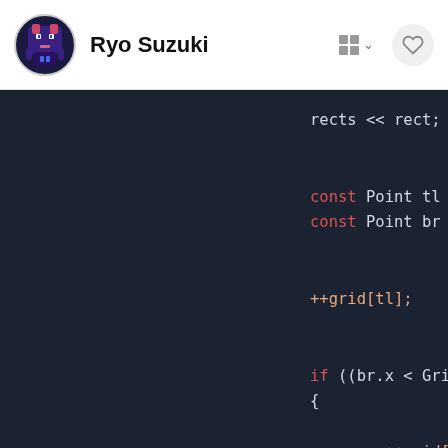Ryo Suzuki
[Figure (screenshot): Dark-themed code editor screenshot showing C++ code with syntax highlighting. Visible lines include: rects << rect;, const Point tl =, const Point br =, ++grid[tl];, if ((br.x < GridS, {, ++grid[br, }, if (br.x < GridSi, {, --grid[{]